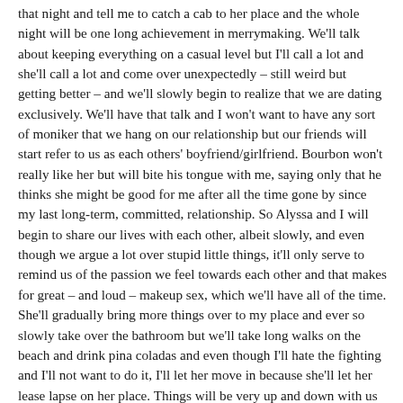that night and tell me to catch a cab to her place and the whole night will be one long achievement in merrymaking. We'll talk about keeping everything on a casual level but I'll call a lot and she'll call a lot and come over unexpectedly – still weird but getting better – and we'll slowly begin to realize that we are dating exclusively. We'll have that talk and I won't want to have any sort of moniker that we hang on our relationship but our friends will start refer to us as each others' boyfriend/girlfriend. Bourbon won't really like her but will bite his tongue with me, saying only that he thinks she might be good for me after all the time gone by since my last long-term, committed, relationship. So Alyssa and I will begin to share our lives with each other, albeit slowly, and even though we argue a lot over stupid little things, it'll only serve to remind us of the passion we feel towards each other and that makes for great – and loud – makeup sex, which we'll have all of the time. She'll gradually bring more things over to my place and ever so slowly take over the bathroom but we'll take long walks on the beach and drink pina coladas and even though I'll hate the fighting and I'll not want to do it, I'll let her move in because she'll let her lease lapse on her place. Things will be very up and down with us and we'll have really great times and really bad times and going out for meals will be hard because she'll hardly eat anything. I'll really like her family, though, and, surprisingly enough, my family will really like her. She'll get really jealous about my friendship with her best friend and she'll accuse us of sleeping together and